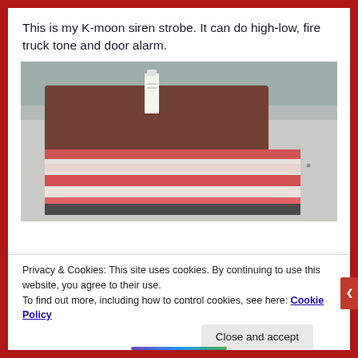This is my K-moon siren strobe. It can do high-low, fire truck tone and door alarm.
[Figure (photo): A blurry close-up photo of a K-moon siren strobe device. The device has a red and white striped/patterned body, with what appears to be a metallic top section and a small white label/tag visible. The background is a light gray wall.]
Privacy & Cookies: This site uses cookies. By continuing to use this website, you agree to their use.
To find out more, including how to control cookies, see here: Cookie Policy
Close and accept